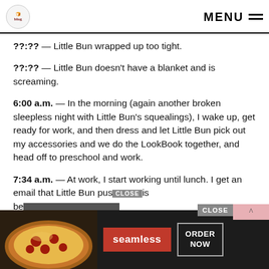MENU
??:?? — Little Bun wrapped up too tight.
??:?? — Little Bun doesn't have a blanket and is screaming.
6:00 a.m. — In the morning (again another broken sleepless night with Little Bun's squealings), I wake up, get ready for work, and then dress and let Little Bun pick out my accessories and we do the LookBook together, and head off to preschool and work.
7:34 a.m. — At work, I start working until lunch. I get an email that Little Bun pushed his be fell
[Figure (screenshot): Seamless food delivery advertisement banner with CLOSE button, scroll up arrow button, pizza food image, Seamless logo in red, and ORDER NOW button in dark background]